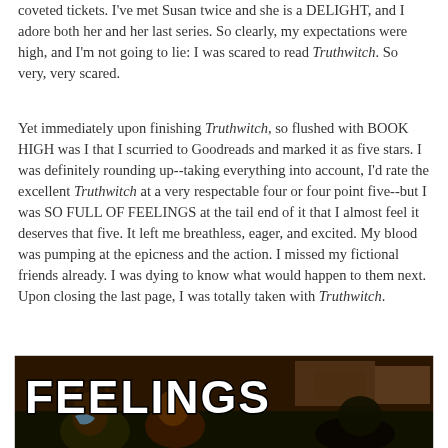coveted tickets. I've met Susan twice and she is a DELIGHT, and I adore both her and her last series. So clearly, my expectations were high, and I'm not going to lie: I was scared to read Truthwitch. So very, very scared.
Yet immediately upon finishing Truthwitch, so flushed with BOOK HIGH was I that I scurried to Goodreads and marked it as five stars. I was definitely rounding up--taking everything into account, I'd rate the excellent Truthwitch at a very respectable four or four point five--but I was SO FULL OF FEELINGS at the tail end of it that I almost feel it deserves that five. It left me breathless, eager, and excited. My blood was pumping at the epicness and the action. I missed my fictional friends already. I was dying to know what would happen to them next. Upon closing the last page, I was totally taken with Truthwitch.
[Figure (photo): A meme image showing the word FEELINGS in large bold white text with black outline, overlaid on a dark animated scene with cartoon characters in what appears to be an interior room setting.]